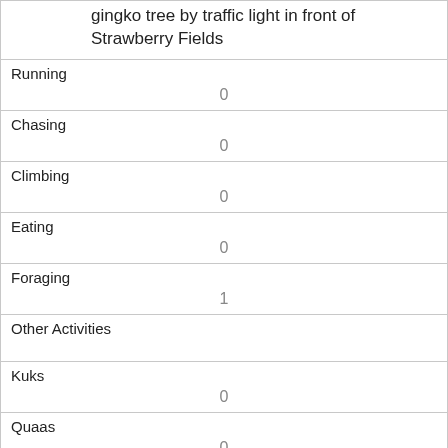| gingko tree by traffic light in front of Strawberry Fields |
| Running | 0 |
| Chasing | 0 |
| Climbing | 0 |
| Eating | 0 |
| Foraging | 1 |
| Other Activities |  |
| Kuks | 0 |
| Quaas | 0 |
| Moans | 0 |